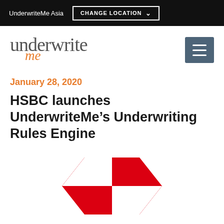UnderwriteMe Asia  CHANGE LOCATION
[Figure (logo): UnderwriteMe logo with 'underwrite' in grey serif and 'me' in orange italic]
January 28, 2020
HSBC launches UnderwriteMe’s Underwriting Rules Engine
[Figure (logo): HSBC red hexagon logo made of four red and white triangular shapes forming a diamond/hexagon pattern]